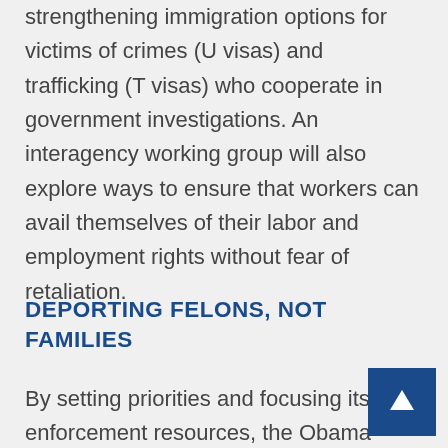strengthening immigration options for victims of crimes (U visas) and trafficking (T visas) who cooperate in government investigations. An interagency working group will also explore ways to ensure that workers can avail themselves of their labor and employment rights without fear of retaliation.
DEPORTING FELONS, NOT FAMILIES
By setting priorities and focusing its enforcement resources, the Obama Administration has already